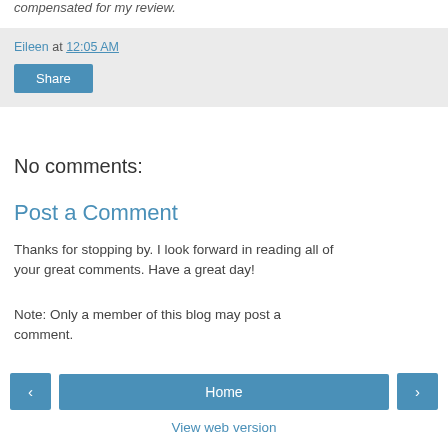compensated for my review.
Eileen at 12:05 AM
Share
No comments:
Post a Comment
Thanks for stopping by. I look forward in reading all of your great comments. Have a great day!
Note: Only a member of this blog may post a comment.
‹
Home
›
View web version